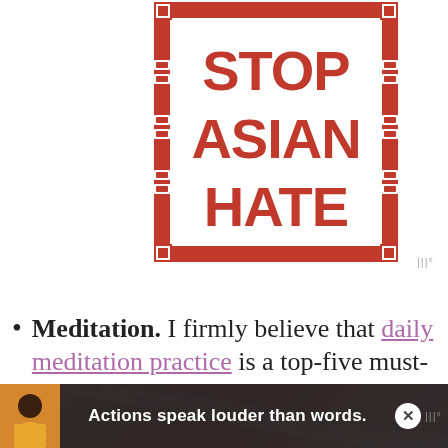[Figure (illustration): Stop Asian Hate logo: bold red text reading STOP ASIAN HATE on white background, enclosed in a red square border with decorative Chinese-style corner and side ornaments.]
Meditation. I firmly believe that daily meditation practice is a top-five must-have tool for any healthy
[Figure (infographic): Advertisement banner at bottom of screen. Dark background with person illustration on left, white bold text 'Actions speak louder than words.' in center, close button on right.]